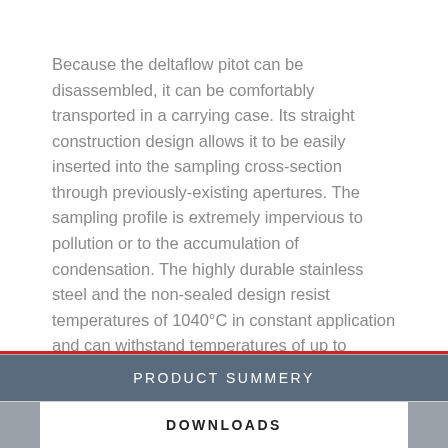Because the deltaflow pitot can be disassembled, it can be comfortably transported in a carrying case. Its straight construction design allows it to be easily inserted into the sampling cross-section through previously-existing apertures. The sampling profile is extremely impervious to pollution or to the accumulation of condensation. The highly durable stainless steel and the non-sealed design resist temperatures of 1040°C in constant application and can withstand temperatures of up to 1200°C for temporary measurements.
PRODUCT SUMMERY
DOWNLOADS